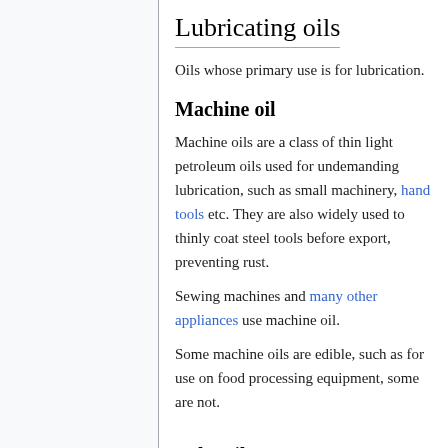Lubricating oils
Oils whose primary use is for lubrication.
Machine oil
Machine oils are a class of thin light petroleum oils used for undemanding lubrication, such as small machinery, hand tools etc. They are also widely used to thinly coat steel tools before export, preventing rust.
Sewing machines and many other appliances use machine oil.
Some machine oils are edible, such as for use on food processing equipment, some are not.
Baby oil